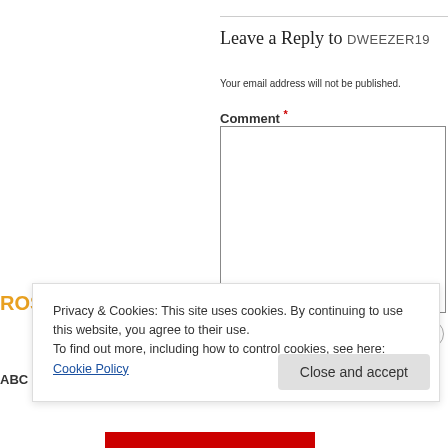Leave a Reply to DWEEZER19
Your email address will not be published.
Comment *
ROSEPOEMS
ABC
Name *
Privacy & Cookies: This site uses cookies. By continuing to use this website, you agree to their use.
To find out more, including how to control cookies, see here: Cookie Policy